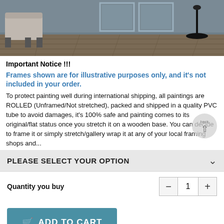[Figure (photo): Interior room scene showing a modern living space with gray/blue walls, wooden flooring, a light gray armchair on the left, framed panels on the wall, and a black floor lamp on the right.]
Important Notice !!!
Frames shown are for illustrative purposes only, and it's not included in your order.
To protect painting well during international shipping, all paintings are ROLLED (Unframed/Not stretched), packed and shipped in a quality PVC tube to avoid damages, it's 100% safe and painting comes to its original/flat status once you stretch it on a wooden base. You can decide to frame it or simply stretch/gallery wrap it at any of your local framing shops and your painting will look beautiful in the...
PLEASE SELECT YOUR OPTION
Quantity you buy
ADD TO CART